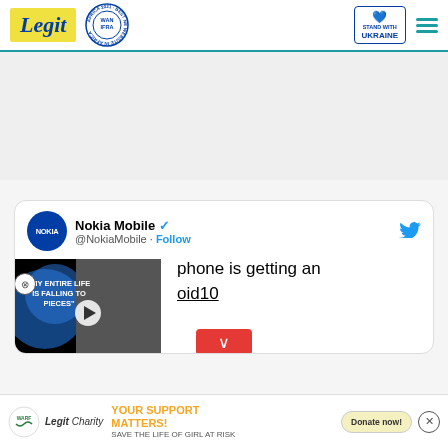Legit | WAN IFRA 2021 Best News Website in Africa | Stand with Ukraine
[Figure (screenshot): Advertisement placeholder area (gray background)]
[Figure (screenshot): Embedded tweet from Nokia Mobile (@NokiaMobile) with verified badge and Follow button. Tweet text partially visible: '...phone is getting an ...oid10' with a video overlay showing text 'MY ENTIRE LIFE IS FALLING TO PIECES' and a play button. Twitter bird icon visible.]
[Figure (infographic): Bottom ad banner: WARF logo, Legit Charity branding, 'YOUR SUPPORT MATTERS! SAVE THE LIFE OF GIRL AT RISK' with Donate now! button]